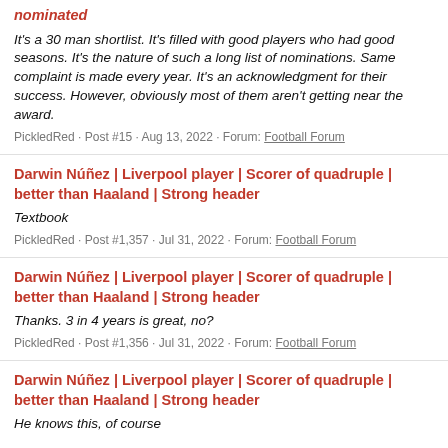nominated
It's a 30 man shortlist. It's filled with good players who had good seasons. It's the nature of such a long list of nominations. Same complaint is made every year. It's an acknowledgment for their success. However, obviously most of them aren't getting near the award.
PickledRed · Post #15 · Aug 13, 2022 · Forum: Football Forum
Darwin Núñez | Liverpool player | Scorer of quadruple | better than Haaland | Strong header
Textbook
PickledRed · Post #1,357 · Jul 31, 2022 · Forum: Football Forum
Darwin Núñez | Liverpool player | Scorer of quadruple | better than Haaland | Strong header
Thanks. 3 in 4 years is great, no?
PickledRed · Post #1,356 · Jul 31, 2022 · Forum: Football Forum
Darwin Núñez | Liverpool player | Scorer of quadruple | better than Haaland | Strong header
He knows this, of course